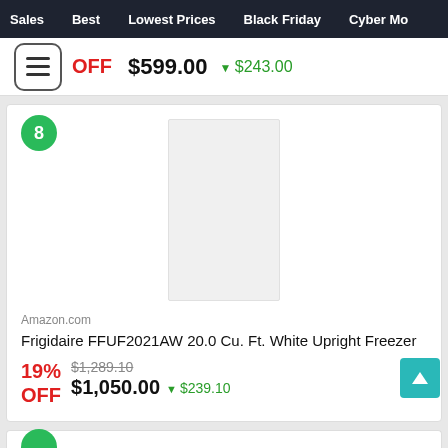Sales  Best  Lowest Prices  Black Friday  Cyber Mo
OFF  $599.00  ▼$243.00
[Figure (photo): White upright freezer product image on white background]
Amazon.com
Frigidaire FFUF2021AW 20.0 Cu. Ft. White Upright Freezer
19% OFF  $1,289.10  $1,050.00  ▼$239.10